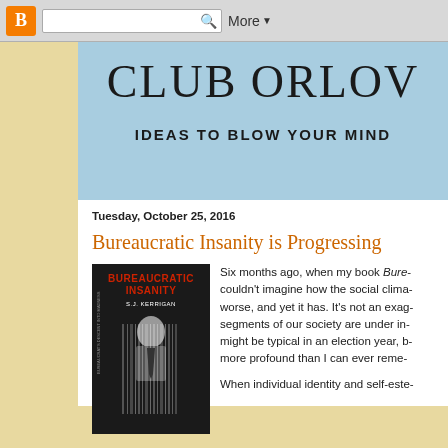Blogger navigation bar with search and More button
CLUB ORLOV
IDEAS TO BLOW YOUR MIND
Tuesday, October 25, 2016
Bureaucratic Insanity is Progressing
[Figure (photo): Book cover of 'Bureaucratic Insanity' by S.J. Kerrigan, dark cover with a man in suit and barcode overlay, red title text]
Six months ago, when my book Bure- couldn't imagine how the social clima- worse, and yet it has. It's not an exag- segments of our society are under in- might be typical in an election year, b- more profound than I can ever reme-

When individual identity and self-este-